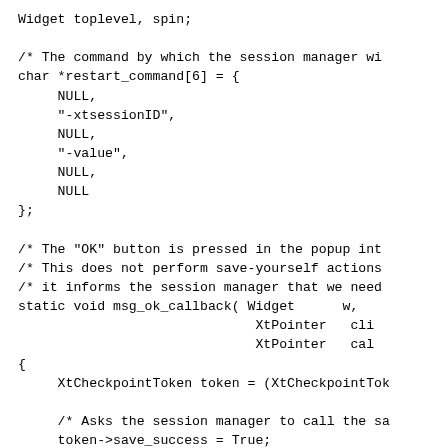Widget toplevel, spin;

/* The command by which the session manager wi
char *restart_command[6] = {
    NULL,
    "-xtsessionID",
    NULL,
    "-value",
    NULL,
    NULL
};

/* The "OK" button is pressed in the popup int
/* This does not perform save-yourself actions
/* it informs the session manager that we need
static void msg_ok_callback( Widget      w,
                              XtPointer   cli
                              XtPointer   cal
{
    XtCheckpointToken token = (XtCheckpointTok

    /* Asks the session manager to call the sa
    token->save_success = True;
    /* Return the token */
    XtSessionReturnToken (token);
}

/* The "Cancel" button is pressed in the popup
static void msg_cancel_callback(  Widget
                                  XtPointer